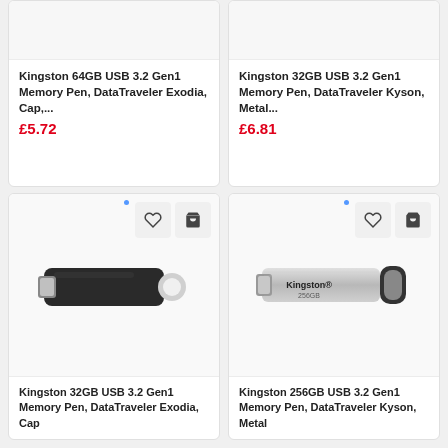[Figure (screenshot): E-commerce product grid showing Kingston USB memory pen drives. Top row shows partial product cards. Bottom row shows two full product cards with images of Kingston USB drives and action buttons.]
Kingston 64GB USB 3.2 Gen1 Memory Pen, DataTraveler Exodia, Cap,...
£5.72
Kingston 32GB USB 3.2 Gen1 Memory Pen, DataTraveler Kyson, Metal...
£6.81
[Figure (photo): Kingston 32GB USB 3.2 Gen1 Memory Pen DataTraveler Exodia black USB drive]
[Figure (photo): Kingston 256GB USB 3.2 Gen1 Memory Pen DataTraveler Kyson silver metal USB drive]
Kingston 32GB USB 3.2 Gen1 Memory Pen, DataTraveler Exodia, Cap
Kingston 256GB USB 3.2 Gen1 Memory Pen, DataTraveler Kyson, Metal